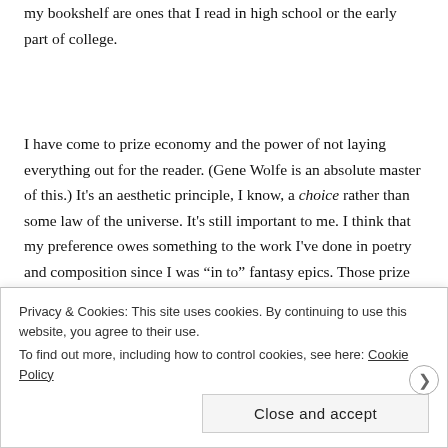my bookshelf are ones that I read in high school or the early part of college.
I have come to prize economy and the power of not laying everything out for the reader. (Gene Wolfe is an absolute master of this.) It's an aesthetic principle, I know, a choice rather than some law of the universe. It's still important to me. I think that my preference owes something to the work I've done in poetry and composition since I was “in to” fantasy epics. Those prize density of meaning rather than scope of narrative. They are about the right notes and the right details
Privacy & Cookies: This site uses cookies. By continuing to use this website, you agree to their use.
To find out more, including how to control cookies, see here: Cookie Policy
Close and accept